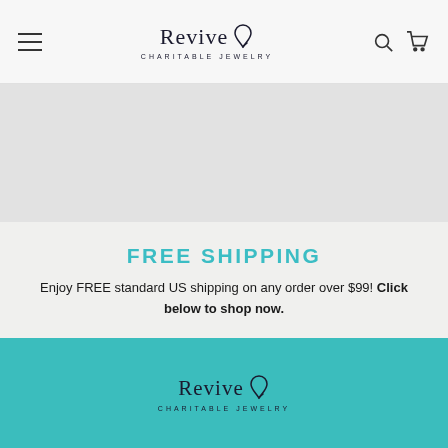Revive Charitable Jewelry — navigation header with hamburger menu, logo, search and cart icons
[Figure (photo): Large banner image area — light gray placeholder rectangle]
FREE SHIPPING
Enjoy FREE standard US shipping on any order over $99! Click below to shop now.
SHOP NOW
[Figure (logo): Revive Charitable Jewelry logo on teal background footer]